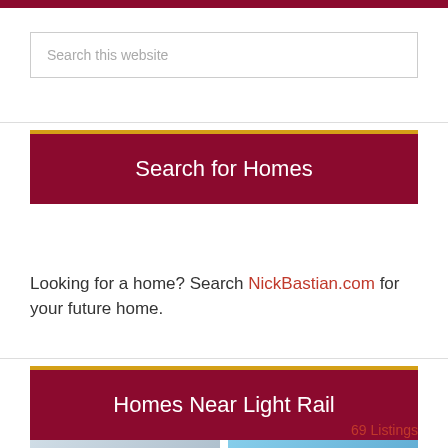Search this website
Search for Homes
Looking for a home? Search NickBastian.com for your future home.
Homes Near Light Rail
69 Listings
[Figure (photo): Two thumbnail images at bottom of page showing homes]